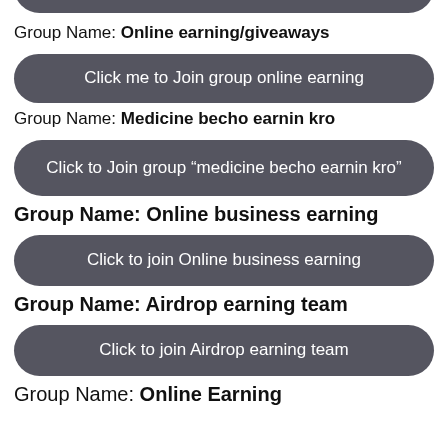[Figure (other): Partially visible dark rounded button at the top of the page]
Group Name: Online earning/giveaways
[Figure (other): Dark rounded button: Click me to Join group online earning]
Group Name: Medicine becho earnin kro
[Figure (other): Dark rounded button: Click to Join group “medicine becho earnin kro”]
Group Name: Online business earning
[Figure (other): Dark rounded button: Click to join Online business earning]
Group Name: Airdrop earning team
[Figure (other): Dark rounded button: Click to join Airdrop earning team]
Group Name: Online Earning